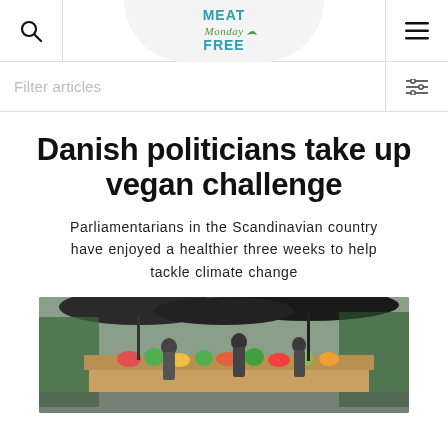Meat Free Monday — navigation header with search, logo, and menu icons
Filter articles
Danish politicians take up vegan challenge
Parliamentarians in the Scandinavian country have enjoyed a healthier three weeks to help tackle climate change
[Figure (photo): Outdoor market scene with people browsing vegetables and produce stalls under dark umbrellas]